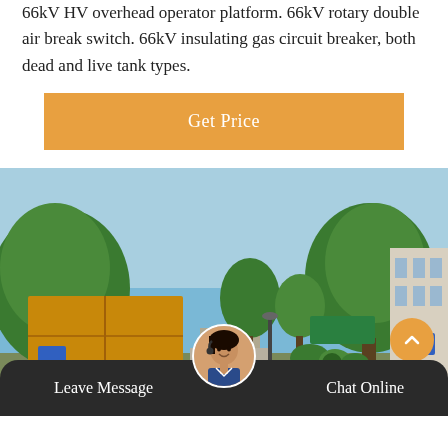66kV HV overhead operator platform. 66kV rotary double air break switch. 66kV insulating gas circuit breaker, both dead and live tank types.
Get Price
[Figure (photo): Outdoor industrial facility scene showing a yellow cargo truck/container on a road lined with green trees, with industrial buildings and a green sign in the background under a blue sky.]
Leave Message   Chat Online